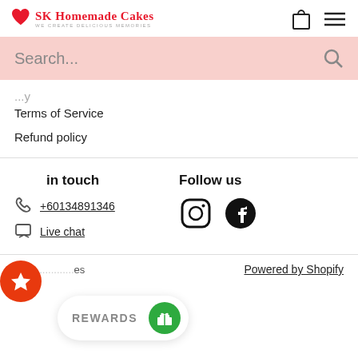SK Homemade Cakes — we create delicious memories
Search...
Terms of Service
Refund policy
in touch
+60134891346
Live chat
Follow us
[Figure (other): Instagram and Facebook social media icons]
© ... es   Powered by Shopify
REWARDS